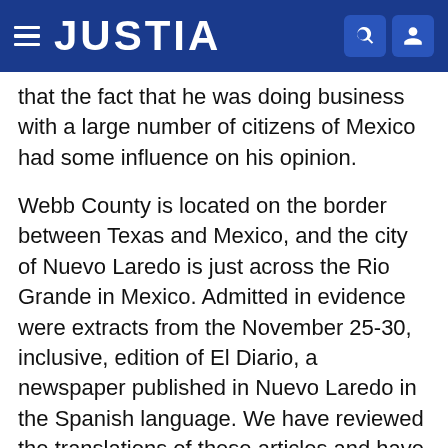JUSTIA
that the fact that he was doing business with a large number of citizens of Mexico had some influence on his opinion.
Webb County is located on the border between Texas and Mexico, and the city of Nuevo Laredo is just across the Rio Grande in Mexico. Admitted in evidence were extracts from the November 25-30, inclusive, edition of El Diario, a newspaper published in Nuevo Laredo in the Spanish language. We have reviewed the translations of these articles and have seen the photographs accompanying them, and find the articles and photographs much more inflammatory and prejudicial against appellant and less newsworthy than the articles from The Times and the transcripts of the television and radio broadcasts. Although El Diario had a circulation of about 2,000 in Webb County, there was little evidence of any influence its articles had on qualified jurors of Webb